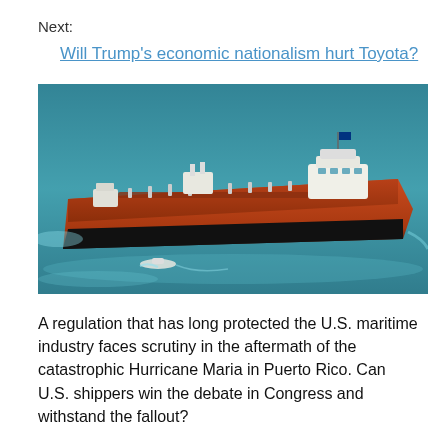Next:
Will Trump’s economic nationalism hurt Toyota?
[Figure (photo): Aerial photograph of a large orange and black oil tanker ship sailing on blue-green ocean water, with a small boat visible nearby creating a wake.]
A regulation that has long protected the U.S. maritime industry faces scrutiny in the aftermath of the catastrophic Hurricane Maria in Puerto Rico. Can U.S. shippers win the debate in Congress and withstand the fallout?